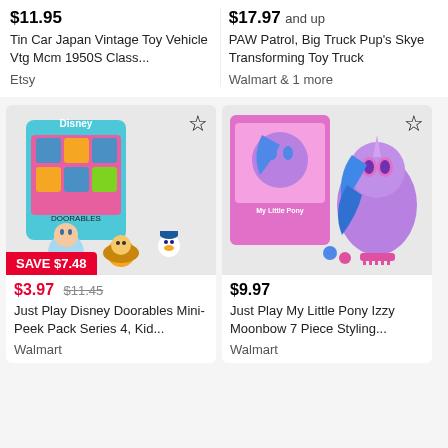$11.95
Tin Car Japan Vintage Toy Vehicle Vtg Mcm 1950S Class...
Etsy
$17.97 and up
PAW Patrol, Big Truck Pup's Skye Transforming Toy Truck
Walmart & 1 more
[Figure (photo): Disney Doorables Mini-Peek Pack Series 4 product image showing box and character figures including Cinderella, Simba, and Donald Duck, with SAVE $7.48 badge]
$3.97 $11.45
Just Play Disney Doorables Mini-Peek Pack Series 4, Kid...
Walmart
[Figure (photo): My Little Pony Izzy Moonbow 7 Piece Styling product image showing purple pony styling head with blue hair and accessories including comb]
$9.97
Just Play My Little Pony Izzy Moonbow 7 Piece Styling...
Walmart